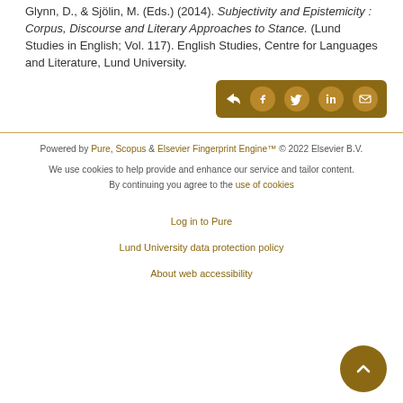Glynn, D., & Sjölin, M. (Eds.) (2014). Subjectivity and Epistemicity : Corpus, Discourse and Literary Approaches to Stance. (Lund Studies in English; Vol. 117). English Studies, Centre for Languages and Literature, Lund University.
[Figure (other): Share buttons bar with dark golden background containing share icon, Facebook, Twitter, LinkedIn, and email icons]
Powered by Pure, Scopus & Elsevier Fingerprint Engine™ © 2022 Elsevier B.V.
We use cookies to help provide and enhance our service and tailor content. By continuing you agree to the use of cookies
Log in to Pure
Lund University data protection policy
About web accessibility